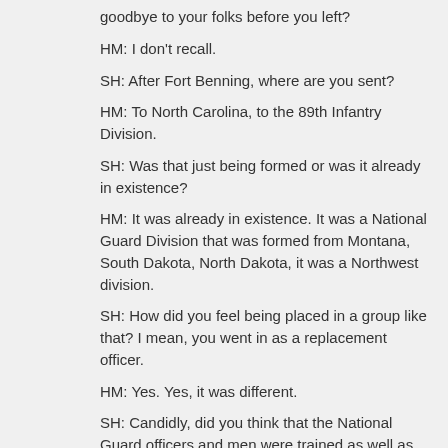goodbye to your folks before you left?
HM:  I don't recall.
SH:  After Fort Benning, where are you sent?
HM:  To North Carolina, to the 89th Infantry Division.
SH:  Was that just being formed or was it already in existence?
HM:  It was already in existence.  It was a National Guard Division that was formed from Montana, South Dakota, North Dakota, it was a Northwest division.
SH:  How did you feel being placed in a group like that?  I mean, you went in as a replacement officer.
HM:  Yes.  Yes, it was different.
SH:  Candidly, did you think that the National Guard officers and men were trained as well as they should have been?
HM:  ... The division, when I joined it, had just been bled,